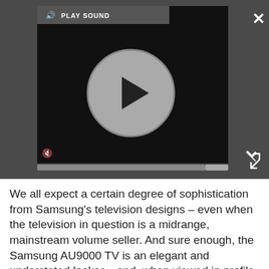[Figure (screenshot): Video player UI with dark background, play button circle, sound controls, mute button, progress bar, close (X) button top-right, and fullscreen icon bottom-right. A 'PLAY SOUND' label with speaker icon appears in the top-left of the video.]
We all expect a certain degree of sophistication from Samsung's television designs – even when the television in question is a midrange, mainstream volume seller. And sure enough, the Samsung AU9000 TV is an elegant and understated looker – and, when viewed in profile, it's remarkably slender.
Advertisement
[Figure (infographic): Ad banner for Waymo / Sterling showing orange/yellow logo, 'Sterling OPEN 6AM–12AM', '45131 Columbia Place, Sterling', blue diamond navigation icon, navigation arrows on left side.]